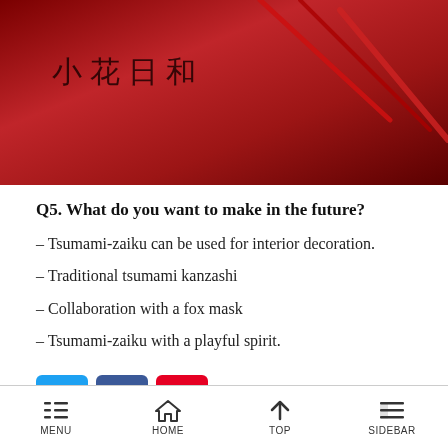[Figure (photo): Red background header image with Japanese kanji text '小花日和' and decorative red stems/chopsticks on dark red background]
Q5. What do you want to make in the future?
– Tsumami-zaiku can be used for interior decoration.
– Traditional tsumami kanzashi
– Collaboration with a fox mask
– Tsumami-zaiku with a playful spirit.
[Figure (infographic): Social media share buttons: Twitter (blue), Facebook (dark blue), Pinterest (red)]
MENU  HOME  TOP  SIDEBAR